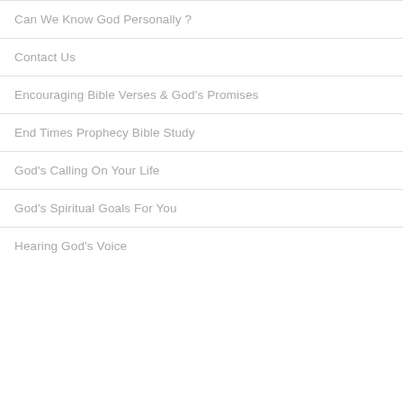Can We Know God Personally ?
Contact Us
Encouraging Bible Verses & God's Promises
End Times Prophecy Bible Study
God's Calling On Your Life
God's Spiritual Goals For You
Hearing God's Voice